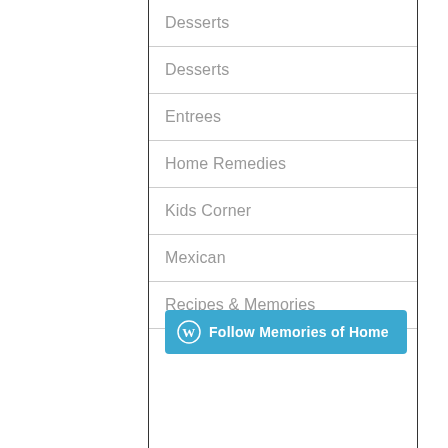Desserts
Desserts
Entrees
Home Remedies
Kids Corner
Mexican
Recipes & Memories
[Figure (other): WordPress Follow button: 'Follow Memories of Home']